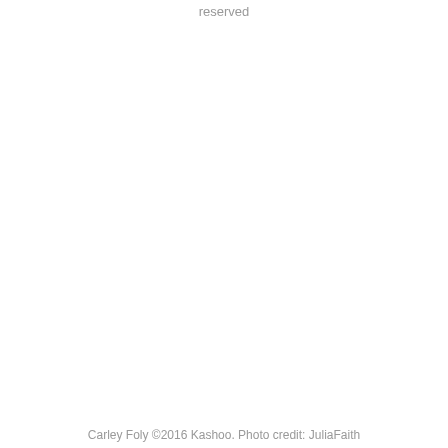reserved
Carley Foly ©2016 Kashoo. Photo credit: JuliaFaith